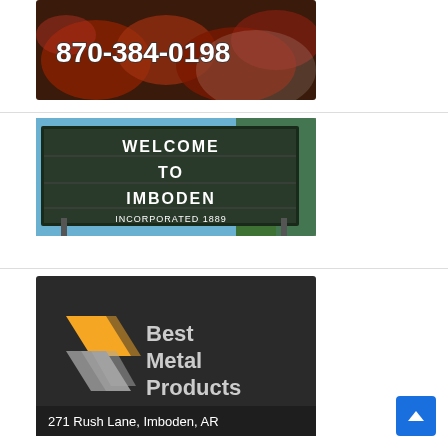[Figure (photo): Advertisement image showing crawfish/seafood with phone number 870-384-0198 displayed prominently in white text]
[Figure (photo): Welcome to Imboden sign photo - marquee sign reading WELCOME TO IMBODEN INCORPORATED 1889 against blue sky with trees]
[Figure (logo): Best Metal Products advertisement with orange and grey striped logo, text reading Best Metal Products, address 271 Rush Lane, Imboden, AR on dark background]